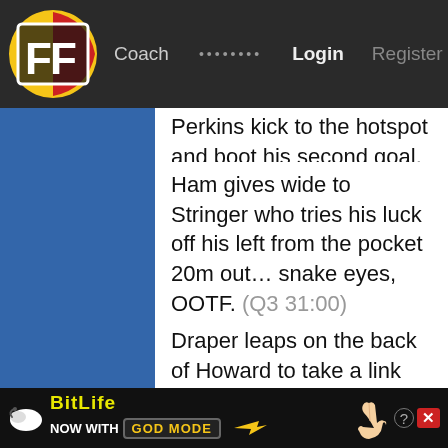FF | Coach | ········ | Login | Register
Perkins kick to the hotspot and boot his second goal. (Q3 29:47)
Ham gives wide to Stringer who tries his luck off his left from the pocket 20m out… snake eyes, OOTF. (Q3 31:00)
Draper leaps on the back of Howard to take a link mark on the wing, he bombs long to the hotspot where Hobbs roves and feeds Guelfi for the goal with seconds left to 3QT! (Q3 33:25)
Clark bombs from midfield up the guts, Marshall holds position in front of Laverde to take a strong mark 45m out but hooks the set shot left. (Q4 0:49)
Hind is pinged for deliberate OOB near the
[Figure (screenshot): BitLife advertisement banner: 'NOW WITH GOD MODE' with finger pointing graphic, close button and help icon]